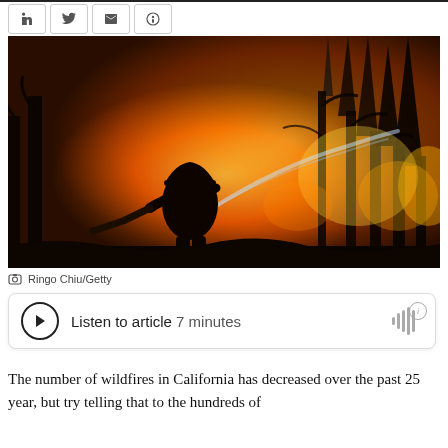[Figure (photo): Firefighter silhouetted against a large wildfire, holding a hose pointed at burning trees with bright orange flames illuminating the scene]
Ringo Chiu/Getty
Listen to article  7 minutes
The number of wildfires in California has decreased over the past 25 year, but try telling that to the hundreds of